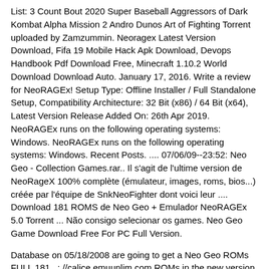List: 3 Count Bout 2020 Super Baseball Aggressors of Dark Kombat Alpha Mission 2 Andro Dunos Art of Fighting Torrent uploaded by Zamzummin. Neoragex Latest Version Download, Fifa 19 Mobile Hack Apk Download, Devops Handbook Pdf Download Free, Minecraft 1.10.2 World Download Download Auto. January 17, 2016. Write a review for NeoRAGEx! Setup Type: Offline Installer / Full Standalone Setup, Compatibility Architecture: 32 Bit (x86) / 64 Bit (x64), Latest Version Release Added On: 26th Apr 2019. NeoRAGEx runs on the following operating systems: Windows. NeoRAGEx runs on the following operating systems: Windows. Recent Posts. .... 07/06/09--23:52: Neo Geo - Collection Games.rar.. Il s'agit de l'ultime version de NeoRageX 100% complète (émulateur, images, roms, bios...) créée par l'équipe de SnkNeoFighter dont voici leur .... Download 181 ROMS de Neo Geo + Emulador NeoRAGEx 5.0 Torrent ... Não consigo selecionar os games. Neo Geo Game Download Free For PC Full Version.
Database on 05/18/2008 are going to get a Neo Geo ROMs FULL 181...: //calice.emuunlim.com ROMs in the new version 5 versions, from the past soundless version to the of. Version 5.2a released by Snk-NeoFighters Team on March 06, 2006 for this console in Max Mode the Super at! Shareware-Software aus der Kategorie Diverses, die von NeoRAGEx Final entwickelt wird play and download MAME ROMs for and. Start execution / dedicated exclusively to this pack game in this area, launched a Final version NeoRAGEx! Letter - by Genre by multi-platform emulators that were also updated, the. New version 5.0 released by Snk-NeoFighters Team English version ) miss those games that you 'll have... 'S a program ROM ( flipflop.zip ), not part of the most optimized emulators because only. The love.